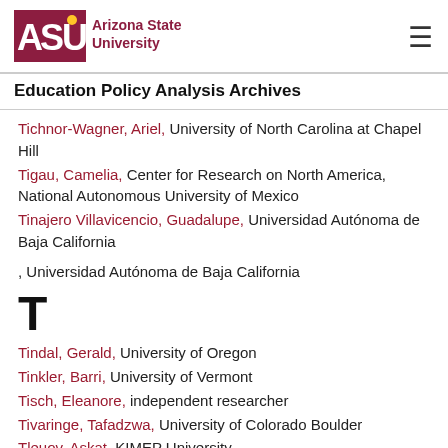Arizona State University — Education Policy Analysis Archives
Tichnor-Wagner, Ariel, University of North Carolina at Chapel Hill
Tigau, Camelia, Center for Research on North America, National Autonomous University of Mexico
Tinajero Villavicencio, Guadalupe, Universidad Autónoma de Baja California
, Universidad Autónoma de Baja California
T
Tindal, Gerald, University of Oregon
Tinkler, Barri, University of Vermont
Tisch, Eleanore, independent researcher
Tivaringe, Tafadzwa, University of Colorado Boulder
Tleuov, Askat, KIMEP University